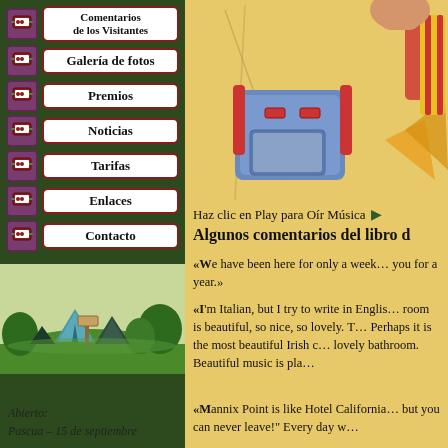Comentarios de los Visitantes
Galería de fotos
Premios
Noticias
Tarifas
Enlaces
Contacto
[Figure (illustration): Camping scene with tents, grass, and a signpost]
Abierto:
Pascua – 15 de septiembre
[Figure (illustration): Cartoon character with camping backpack and tent in background]
Haz clic en Play para Oír Música ▶
Algunos comentarios del libro d…
«We have been here for only a week… you for a year.»
«I'm Italian, but I try to write in English… room is beautiful, so nice, so lovely. T… Perhaps it is the most beautiful Irish c… lovely bathroom. Beautiful music is pla…
«Mannix Point is like Hotel California… but you can never leave!" Every day w…